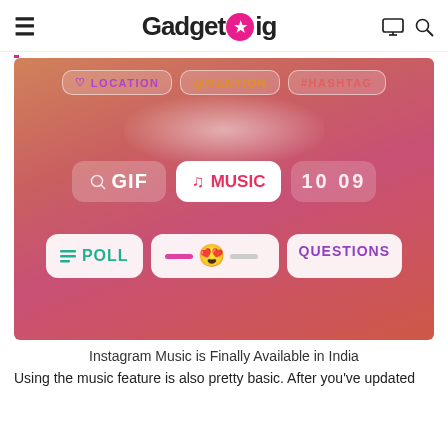GadgetGig
[Figure (screenshot): Instagram Stories sticker menu screenshot showing LOCATION, @MENTION, #HASHTAG stickers at top, GIF, MUSIC, 10:09 time stickers in the middle, and POLL, emoji slider, QUESTIONS stickers at the bottom, on a warm gradient background]
Instagram Music is Finally Available in India
Using the music feature is also pretty basic. After you've updated